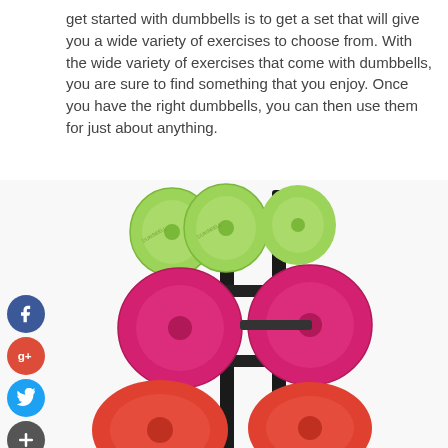get started with dumbbells is to get a set that will give you a wide variety of exercises to choose from. With the wide variety of exercises that come with dumbbells, you are sure to find something that you enjoy. Once you have the right dumbbells, you can then use them for just about anything.
[Figure (photo): A rack of colorful dumbbells arranged in three rows: green dumbbells on top, pink/magenta dumbbells in the middle, and red/orange dumbbells at the bottom, displayed on a black stand.]